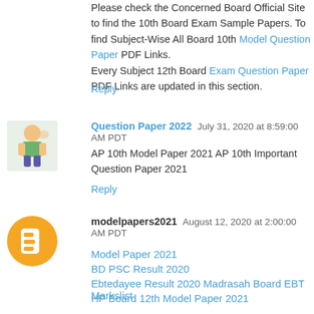Please check the Concerned Board Official Site to find the 10th Board Exam Sample Papers. To find Subject-Wise All Board 10th Model Question Paper PDF Links. Every Subject 12th Board Exam Question Paper PDF Links are updated in this section.
Reply
Question Paper 2022  July 31, 2020 at 8:59:00 AM PDT
AP 10th Model Paper 2021 AP 10th Important Question Paper 2021
Reply
modelpapers2021  August 12, 2020 at 2:00:00 AM PDT
Model Paper 2021
BD PSC Result 2020
Ebtedayee Result 2020 Madrasah Board EBT Markslist
HP Board 12th Model Paper 2021
JKBOSE 12th Question Paper 2021
PSEB 12th Sample Paper 2021